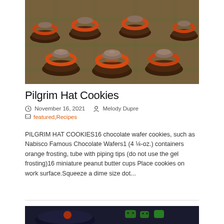[Figure (photo): Close-up photo of Pilgrim Hat Cookies — chocolate wafer cookies topped with orange frosting buckle decorations and miniature peanut butter cups, arranged on a plaid surface.]
Pilgrim Hat Cookies
November 16, 2021   Melody Dupre
featured, Recipes
PILGRIM HAT COOKIES16 chocolate wafer cookies, such as Nabisco Famous Chocolate Wafers1 (4 ¼-oz.) containers orange frosting, tube with piping tips (do not use the gel frosting)16 miniature peanut butter cups Place cookies on work surface.Squeeze a dime size dot...
[Figure (photo): Partial view of another recipe photo at the bottom of the page, showing a dark bowl and green decorative elements.]